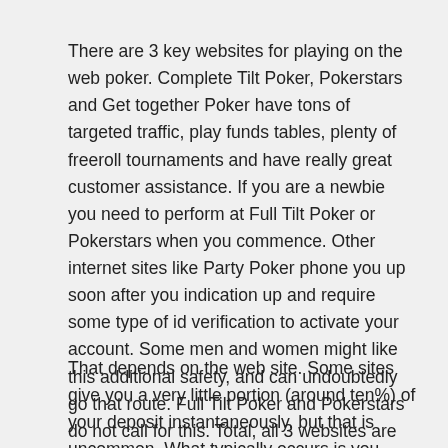There are 3 key websites for playing on the web poker. Complete Tilt Poker, Pokerstars and Get together Poker have tons of targeted traffic, play funds tables, plenty of freeroll tournaments and have really great customer assistance. If you are a newbie you need to perform at Full Tilt Poker or Pokerstars when you commence. Other internet sites like Party Poker phone you up soon after you indication up and require some type of id verification to activate your account. Some men and women might like this additional safety, and can undoubtedly go that route. Full Tilt Poker and Pokerstars do not call for this. Total, all 3 websites are amazingly secure and nicely identified.
That depends on the web site. Some sites give you a very little portion (around ten%) of your deposit instantaneously, but that is uncommon. What typically occurs is you deposit $600, and then right after you accumulate a certain sum of player points, they will give you the entire $600. This is to make certain depositing players are also energetic. With on